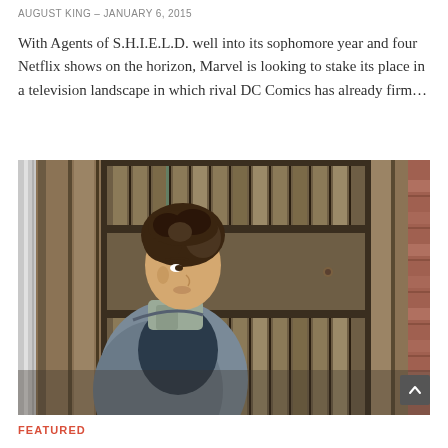AUGUST KING – JANUARY 6, 2015
With Agents of S.H.I.E.L.D. well into its sophomore year and four Netflix shows on the horizon, Marvel is looking to stake its place in a television landscape in which rival DC Comics has already firm…
[Figure (photo): A young man with curly brown hair wearing a grey jacket and navy hoodie, standing in front of weathered wooden fence panels. He is looking to the left in a profile-like pose. The background shows old wooden slat doors/fence in muted grey-brown tones with a hint of brick on the right side.]
FEATURED